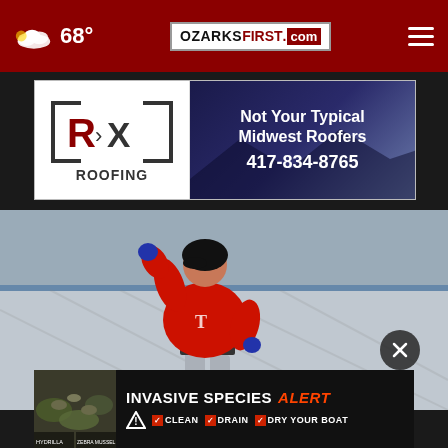68° OZARKSFIRST.com
[Figure (photo): RX Roofing advertisement: Not Your Typical Midwest Roofers, 417-834-8765]
[Figure (photo): Minnesota Twins baseball player in red uniform swinging bat at stadium]
[Figure (photo): Invasive Species Alert advertisement: CLEAN DRAIN DRY YOUR BOAT]